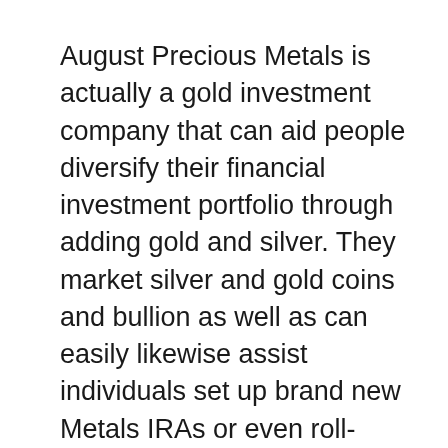August Precious Metals is actually a gold investment company that can aid people diversify their financial investment portfolio through adding gold and silver. They market silver and gold coins and bullion as well as can easily likewise assist individuals set up brand new Metals IRAs or even roll-over an existing retirement account in to a Gold or Silver IRA.
Have you decided it is actually finally opportunity to transform your portfolio through purchasing gold and silvers? Or, possibly you have actually been hearing some good ideas about acquiring gold and silver, yet may not be rather certain if it is actually the very best economic propose